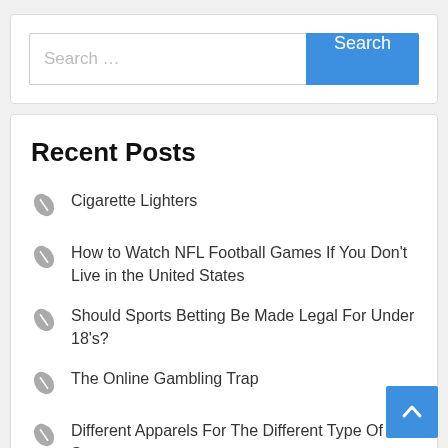[Figure (screenshot): Search bar with text input field showing 'Search ...' placeholder and a blue 'Search' button]
Recent Posts
Cigarette Lighters
How to Watch NFL Football Games If You Don't Live in the United States
Should Sports Betting Be Made Legal For Under 18's?
The Online Gambling Trap
Different Apparels For The Different Type Of Sports